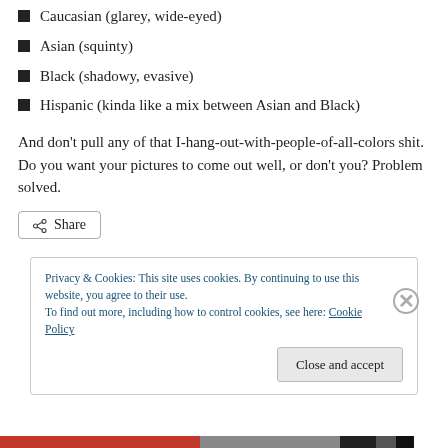Caucasian (glarey, wide-eyed)
Asian (squinty)
Black (shadowy, evasive)
Hispanic (kinda like a mix between Asian and Black)
And don’t pull any of that I-hang-out-with-people-of-all-colors shit. Do you want your pictures to come out well, or don’t you? Problem solved.
Share
Privacy & Cookies: This site uses cookies. By continuing to use this website, you agree to their use.
To find out more, including how to control cookies, see here: Cookie Policy
Close and accept